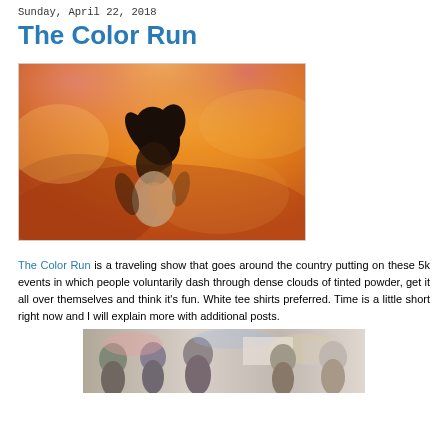Sunday, April 22, 2018
The Color Run
[Figure (photo): Person surrounded by dense orange and pink colored powder clouds during The Color Run event]
The Color Run is a traveling show that goes around the country putting on these 5k events in which people voluntarily dash through dense clouds of tinted powder, get it all over themselves and think it's fun. White tee shirts preferred. Time is a little short right now and I will explain more with additional posts.
[Figure (photo): Group of people at a Color Run event, partially visible at bottom of page]